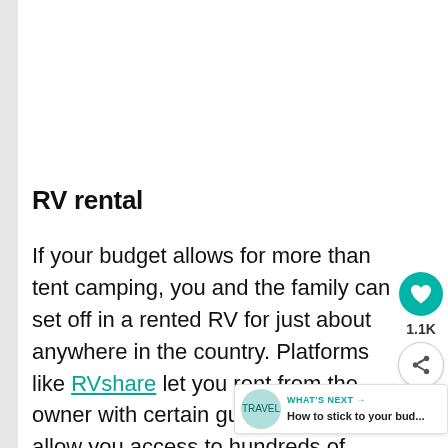RV rental
If your budget allows for more than tent camping, you and the family can set off in a rented RV for just about anywhere in the country. Platforms like RVshare let you rent from the owner with certain guarantees and allow you access to hundreds of choices from small camper vans to travel trailers to full-on Class A